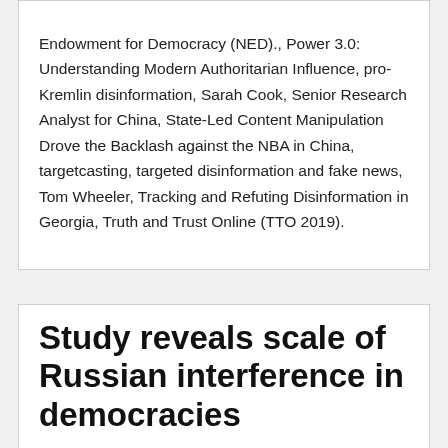Endowment for Democracy (NED)., Power 3.0: Understanding Modern Authoritarian Influence, pro-Kremlin disinformation, Sarah Cook, Senior Research Analyst for China, State-Led Content Manipulation Drove the Backlash against the NBA in China, targetcasting, targeted disinformation and fake news, Tom Wheeler, Tracking and Refuting Disinformation in Georgia, Truth and Trust Online (TTO 2019).
Study reveals scale of Russian interference in democracies
DemDigest   May 8, 2019
Evidence of the Kremlin-backed Internet Research Agency's long-term interference in European